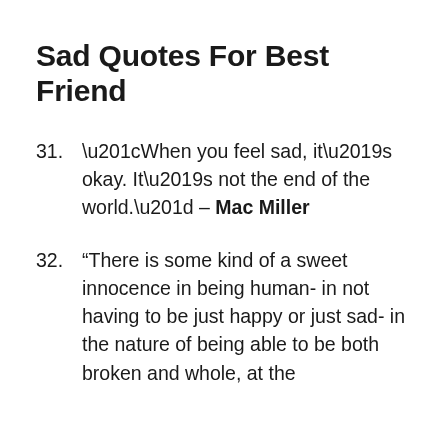Sad Quotes For Best Friend
31. “When you feel sad, it’s okay. It’s not the end of the world.” – Mac Miller
32. “There is some kind of a sweet innocence in being human- in not having to be just happy or just sad- in the nature of being able to be both broken and whole, at the